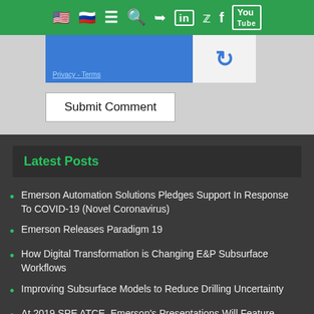Navigation bar with flags, menu, search, share, LinkedIn, Twitter, Facebook, YouTube icons
[Figure (screenshot): reCAPTCHA widget with blue left panel showing Privacy - Terms links and white right panel with reCAPTCHA logo]
Privacy - Terms
Submit Comment
Latest Posts
Emerson Automation Solutions Pledges Support In Response To COVID-19 (Novel Coronavirus)
Emerson Releases Paradigm 19
How Digital Transformation is Changing E&P Subsurface Workflows
Improving Subsurface Models to Reduce Drilling Uncertainty
At 2019 SPE ATCE, Emerson's Presentations Will Feature Solutions for Solving Subsurface and Surface Challenges